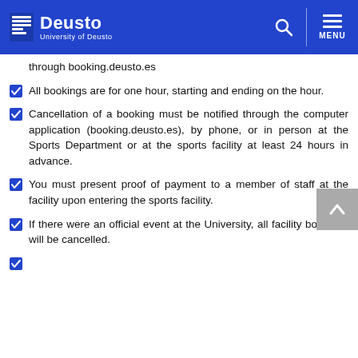Deusto — University of Deusto
through booking.deusto.es
All bookings are for one hour, starting and ending on the hour.
Cancellation of a booking must be notified through the computer application (booking.deusto.es), by phone, or in person at the Sports Department or at the sports facility at least 24 hours in advance.
You must present proof of payment to a member of staff at the facility upon entering the sports facility.
If there were an official event at the University, all facility bookings will be cancelled.